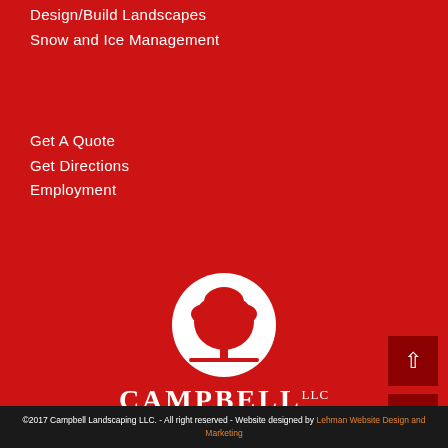Design/Build Landscapes
Snow and Ice Management
Get A Quote
Get Directions
Employment
[Figure (logo): Campbell Landscaping LLC logo: white circle with red tree silhouette, text CAMPBELL LLC LANDSCAPING in white]
©2017 Campbell Landscaping LLC. - All right reserved - Website designed by Lehman Website Design and Marketing